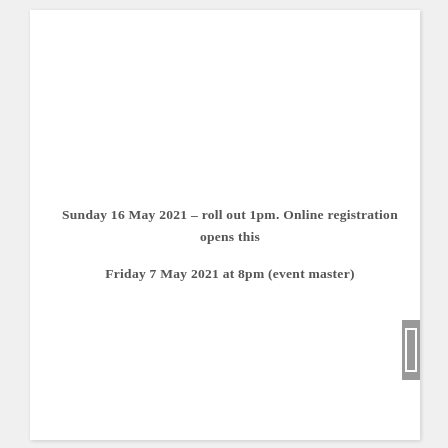Sunday 16 May 2021 – roll out 1pm. Online registration opens this Friday 7 May 2021 at 8pm (event master)